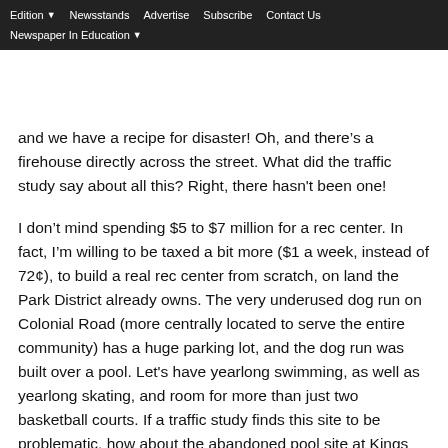Edition  Newsstands  Advertise  Subscribe  Contact Us  Newspaper In Education
and we have a recipe for disaster! Oh, and there’s a firehouse directly across the street. What did the traffic study say about all this? Right, there hasn't been one!
I don’t mind spending $5 to $7 million for a rec center. In fact, I’m willing to be taxed a bit more ($1 a week, instead of 72¢), to build a real rec center from scratch, on land the Park District already owns. The very underused dog run on Colonial Road (more centrally located to serve the entire community) has a huge parking lot, and the dog run was built over a pool. Let's have yearlong swimming, as well as yearlong skating, and room for more than just two basketball courts. If a traffic study finds this site to be problematic, how about the abandoned pool site at Kings Point Park, Steamboat Road side?